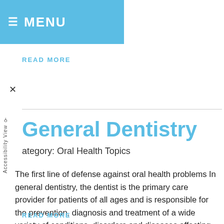≡ MENU
READ MORE
General Dentistry
Category: Oral Health Topics
The first line of defense against oral health problems In general dentistry, the dentist is the primary care provider for patients of all ages and is responsible for the prevention, diagnosis and treatment of a wide variety of conditions, disorders and diseases affecting the teeth, gums and maxillofacial
READ MORE